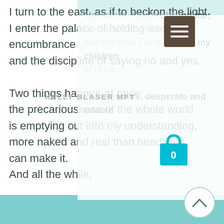Meanwhile, I build a house around me; a mandala I construct in sand, and the arms I wrap around my children at night.
In the wee hours, desperate and unable to sleep,
[Figure (screenshot): Website navigation overlay showing hamburger menu button (dark brown), KELLY BLASER MFT logo, and shopping bag icon with 0 count]
I turn to the east, as if to beckon the light.
I enter the palace of holding each encumbrance
and the discipline of saying no and yes.

Two things happen at once:
the precariousness of the whole world
is emptying out into my understanding,
more naked and real than headlines
can make it.
And all the while,